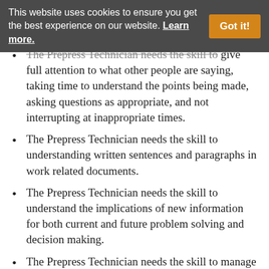This website uses cookies to ensure you get the best experience on our website. Learn more.
The Prepress Technician needs the skill to give full attention to what other people are saying, taking time to understand the points being made, asking questions as appropriate, and not interrupting at inappropriate times.
The Prepress Technician needs the skill to understanding written sentences and paragraphs in work related documents.
The Prepress Technician needs the skill to understand the implications of new information for both current and future problem solving and decision making.
The Prepress Technician needs the skill to manage time in order to complete the job